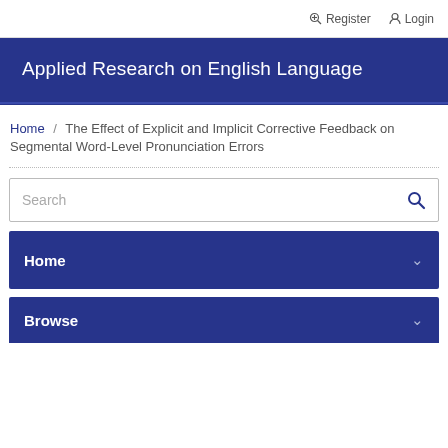Register  Login
Applied Research on English Language
Home / The Effect of Explicit and Implicit Corrective Feedback on Segmental Word-Level Pronunciation Errors
Search
Home
Browse